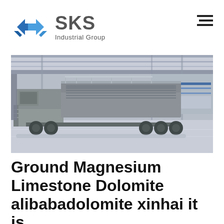[Figure (logo): SKS Industrial Group logo with blue diamond S icon and grey SKS text with 'Industrial Group' subtitle]
[Figure (photo): Large industrial mobile crushing/screening machine parked inside a factory warehouse with reflective floor and overhead crane structure]
Ground Magnesium Limestone Dolomite alibabadolomite xinhai it is